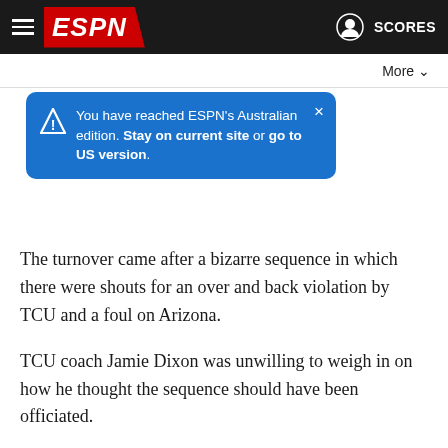[Figure (screenshot): ESPN website navigation bar with hamburger menu, ESPN logo on red background, user icon and SCORES text on dark background]
You have reached ESPN's Australian edition. Stay on current site or go to US version.
The turnover came after a bizarre sequence in which there were shouts for an over and back violation by TCU and a foul on Arizona.
TCU coach Jamie Dixon was unwilling to weigh in on how he thought the sequence should have been officiated.
"I think everyone's seen it, is talking about it," Dixon said. "We're going to handle it the right way, and that's what we discussed.
"We've got the best officials in the country working these games and that's the situation we're in."